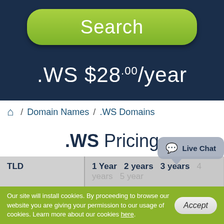[Figure (screenshot): Green rounded Search button on dark blue background]
.WS $28.00/year
/ Domain Names / .WS Domains
.WS Pricing
| TLD | 1 Year | 2 years | 3 years | 4 years | 5 years |
| --- | --- | --- | --- | --- | --- |
Our site will install cookies. By proceeding to browse our website you are giving your permission to our usage of cookies. Learn more about our cookies here.
Accept